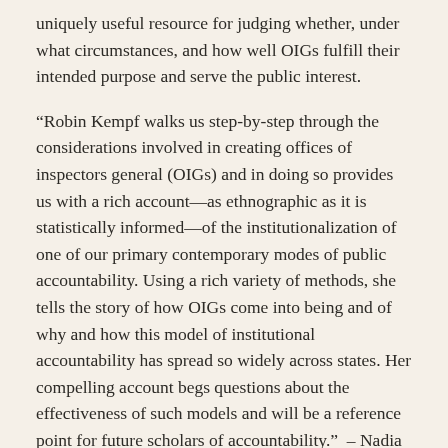uniquely useful resource for judging whether, under what circumstances, and how well OIGs fulfill their intended purpose and serve the public interest.
“Robin Kempf walks us step-by-step through the considerations involved in creating offices of inspectors general (OIGs) and in doing so provides us with a rich account—as ethnographic as it is statistically informed—of the institutionalization of one of our primary contemporary modes of public accountability. Using a rich variety of methods, she tells the story of how OIGs come into being and of why and how this model of institutional accountability has spread so widely across states. Her compelling account begs questions about the effectiveness of such models and will be a reference point for future scholars of accountability.” – Nadia Hilliard, author of The Accountability State: US Federal Inspectors General and the Pursuit of Democratic Integrity